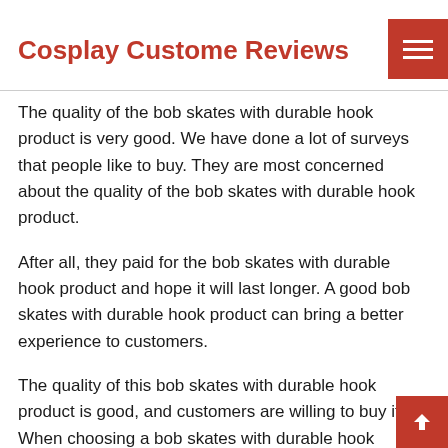Cosplay Custome Reviews
The quality of the bob skates with durable hook product is very good. We have done a lot of surveys that people like to buy. They are most concerned about the quality of the bob skates with durable hook product.
After all, they paid for the bob skates with durable hook product and hope it will last longer. A good bob skates with durable hook product can bring a better experience to customers.
The quality of this bob skates with durable hook product is good, and customers are willing to buy it. When choosing a bob skates with durable hook product,